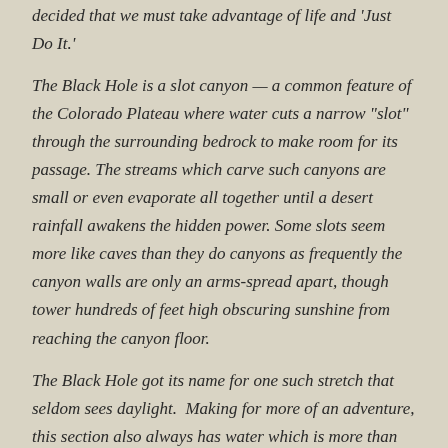decided that we must take advantage of life and 'Just Do It.'
The Black Hole is a slot canyon — a common feature of the Colorado Plateau where water cuts a narrow "slot" through the surrounding bedrock to make room for its passage. The streams which carve such canyons are small or even evaporate all together until a desert rainfall awakens the hidden power. Some slots seem more like caves than they do canyons as frequently the canyon walls are only an arms-spread apart, though tower hundreds of feet high obscuring sunshine from reaching the canyon floor.
The Black Hole got its name for one such stretch that seldom sees daylight.  Making for more of an adventure, this section also always has water which is more than six feet deep. And, since there is no sunshine,  the water is cold. Even when the temperature hit a scorching 105 degrees at the canyon rim, the water in the Black Hole will